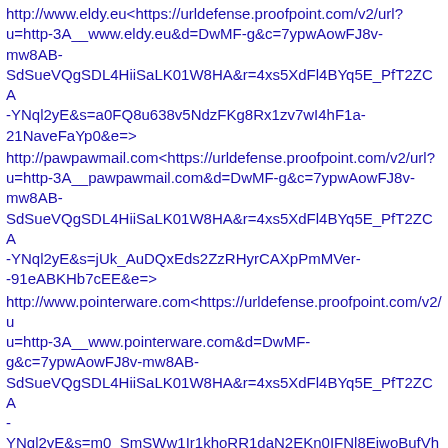http://www.eldy.eu<https://urldefense.proofpoint.com/v2/url?u=http-3A__www.eldy.eu&d=DwMF-g&c=7ypwAowFJ8v-mw8AB-SdSueVQgSDL4HiiSaLK01W8HA&r=4xs5XdFl4BYq5E_PfT2ZCA-YNql2yE&s=a0FQ8u638v5NdzFKg8Rx1zv7wI4hF1a-21NaveFaYp0&e=>
http://pawpawmail.com<https://urldefense.proofpoint.com/v2/url?u=http-3A__pawpawmail.com&d=DwMF-g&c=7ypwAowFJ8v-mw8AB-SdSueVQgSDL4HiiSaLK01W8HA&r=4xs5XdFl4BYq5E_PfT2ZCA-YNql2yE&s=jUk_AuDQxEds2ZzRHyrCAXpPmMVer--91eABKHb7cEE&e=>
http://www.pointerware.com<https://urldefense.proofpoint.com/v2/url?u=http-3A__www.pointerware.com&d=DwMF-g&c=7ypwAowFJ8v-mw8AB-SdSueVQgSDL4HiiSaLK01W8HA&r=4xs5XdFl4BYq5E_PfT2ZCA-YNql2yE&s=m0_SmSWw1Ir1khoRR1daN2EKn0IFNl8EjwoBufVh
https://seeyoulink.com<https://urldefense.proofpoint.com/v2/url?u=https-3A__seeyoulink.com&d=DwMF-g&c=7ypwAowFJ8v-mw8AB-SdSueVQgSDL4HiiSaLK01W8HA&r=4xs5XdFl4BYq5E_PfT2ZCA-YNql2yE&s=fwe5pUVEogHiOKCI-Cja7ahFNAliYkzOYFgZ0GjJ20o&e=>